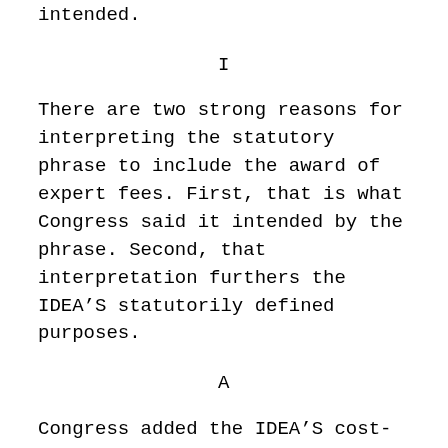intended.
I
There are two strong reasons for interpreting the statutory phrase to include the award of expert fees. First, that is what Congress said it intended by the phrase. Second, that interpretation furthers the IDEA’S statutorily defined purposes.
A
Congress added the IDEA’S cost-shifting provision when it enacted the Handicapped Children’s Protection Act of 1986 (HCPA), 100 Stat. 796. Senator Lowell Weicker introduced the relevant bill in 1985. 131 Cong. Rec. 1979-1980 (1985). As introduced, it sought to overturn this Court’s determination that the then-current version of the